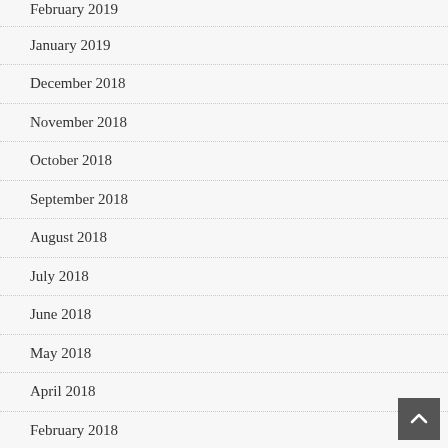February 2019 (partial, cut off at top)
January 2019
December 2018
November 2018
October 2018
September 2018
August 2018
July 2018
June 2018
May 2018
April 2018
February 2018
January 2018